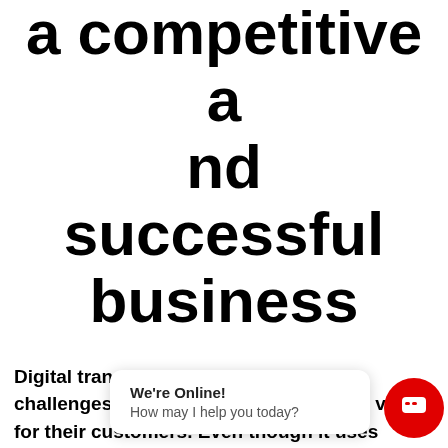a competitive and successful business
Digital transformation fundamentally challenges the way businesses provide value for their customers. Even though it uses access to loads of data, services and new technology, but it is important to remember that people are at the center of it. A customer-centred approach helps to optimize business operations and correct them on the way.
Offering a po... applications ... microservices and integrations, and